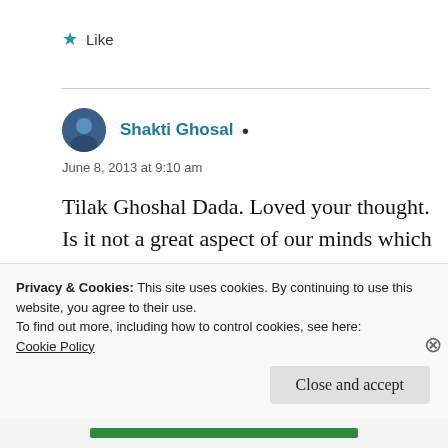★ Like
Shakti Ghosal ▲
June 8, 2013 at 9:10 am
Tilak Ghoshal Dada. Loved your thought. Is it not a great aspect of our minds which allow us to connect dots from seemingly disparate stuff and then envison a
Privacy & Cookies: This site uses cookies. By continuing to use this website, you agree to their use.
To find out more, including how to control cookies, see here:
Cookie Policy
Close and accept